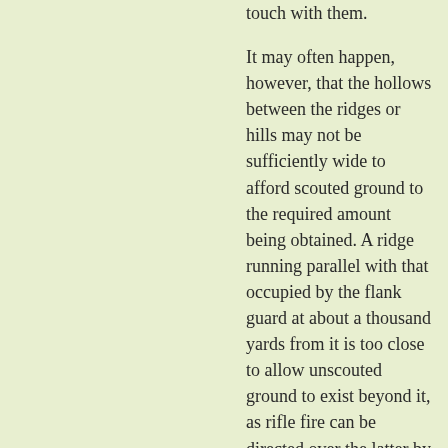touch with them.
It may often happen, however, that the hollows between the ridges or hills may not be sufficiently wide to afford scouted ground to the required amount being obtained. A ridge running parallel with that occupied by the flank guard at about a thousand yards from it is too close to allow unscouted ground to exist beyond it, as rifle fire can be directed over the latter by aid of the curve of trajectory, so as to fall on the column itself. In this case it is correct for the flank guard to maintain its position on the line of resistance, that is the nearest skyline, and to push its scouts out on to the second.
As a general rule the work of a flank scout is such that he cannot be fired on at less than 1,000 or 1,500 yards, silica he should allow no unscouted ridge to be within that distance of him.